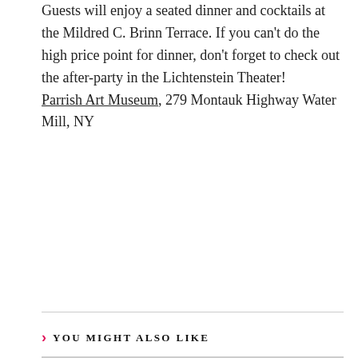Guests will enjoy a seated dinner and cocktails at the Mildred C. Brinn Terrace. If you can't do the high price point for dinner, don't forget to check out the after-party in the Lichtenstein Theater! Parrish Art Museum, 279 Montauk Highway Water Mill, NY
YOU MIGHT ALSO LIKE
[Figure (photo): Abstract expressionist painting with dark black and deep red tones, heavily textured with swirling brushwork]